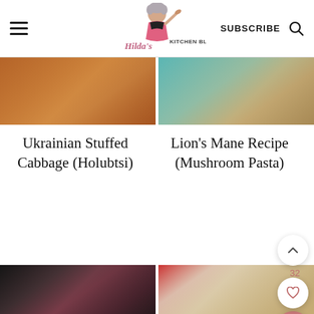Hilda's Kitchen Blog | SUBSCRIBE
[Figure (photo): Cropped food photo top-left: roasted/baked food, warm brown tones]
[Figure (photo): Cropped food photo top-right: bread/dough with teal background]
Ukrainian Stuffed Cabbage (Holubtsi)
Lion's Mane Recipe (Mushroom Pasta)
[Figure (photo): Food photo bottom-left: grilled/smoked meat, dark tones]
[Figure (photo): Food photo bottom-right: drink/cocktail in glass, creamy/dessert]